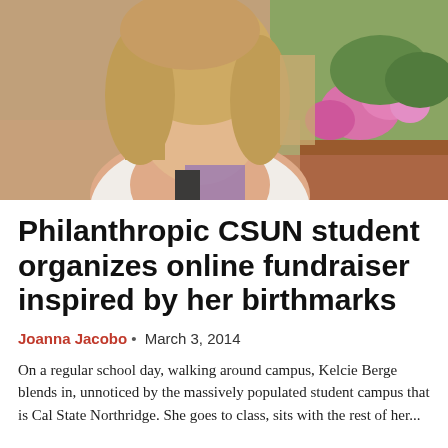[Figure (photo): A young woman with long blonde hair wearing a white tank top, sitting outdoors on what appears to be a campus. Pink flowering bushes and greenery are visible in the background.]
Philanthropic CSUN student organizes online fundraiser inspired by her birthmarks
Joanna Jacobo • March 3, 2014
On a regular school day, walking around campus, Kelcie Berge blends in, unnoticed by the massively populated student campus that is Cal State Northridge. She goes to class, sits with the rest of her...